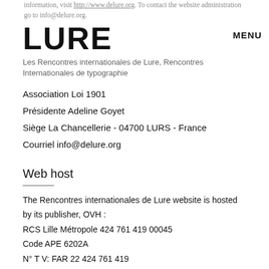information, visit http://www.delure.org. To contact the website administration go to info@delure.org.
LURE
Les Rencontres internationales de Lure, Rencontres Internationales de typographie
MENU
Association Loi 1901
Présidente Adeline Goyet
Siège La Chancellerie - 04700 LURS - France
Courriel info@delure.org
Web host
The Rencontres internationales de Lure website is hosted by its publisher, OVH :
RCS Lille Métropole 424 761 419 00045
Code APE 6202A
N° T V: FAR 22 424 761 419
Head office on Kellermann avenue - Roubaix - France